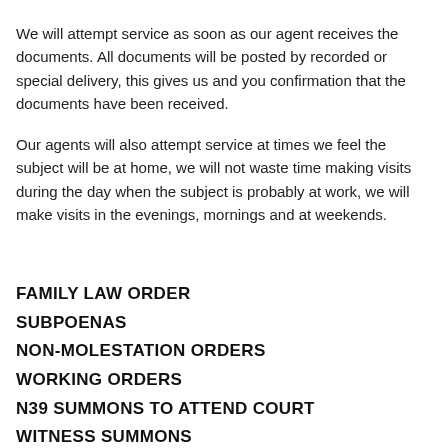We will attempt service as soon as our agent receives the documents. All documents will be posted by recorded or special delivery, this gives us and you confirmation that the documents have been received.
Our agents will also attempt service at times we feel the subject will be at home, we will not waste time making visits during the day when the subject is probably at work, we will make visits in the evenings, mornings and at weekends.
FAMILY LAW ORDER
SUBPOENAS
NON-MOLESTATION ORDERS
WORKING ORDERS
N39 SUMMONS TO ATTEND COURT
WITNESS SUMMONS